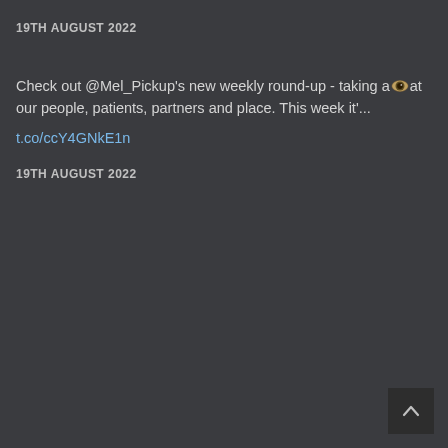19TH AUGUST 2022
Check out @Mel_Pickup's new weekly round-up - taking a 👁 at our people, patients, partners and place. This week it'...
t.co/ccY4GNkE1n
19TH AUGUST 2022